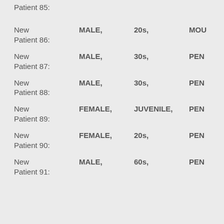Patient 85:
New Patient 86: MALE, 20s, MOUN
New Patient 87: MALE, 30s, PENN
New Patient 88: MALE, 30s, PENN
New Patient 89: FEMALE, JUVENILE, PENN
New Patient 90: FEMALE, 20s, PENN
New Patient 91: MALE, 60s, PENN